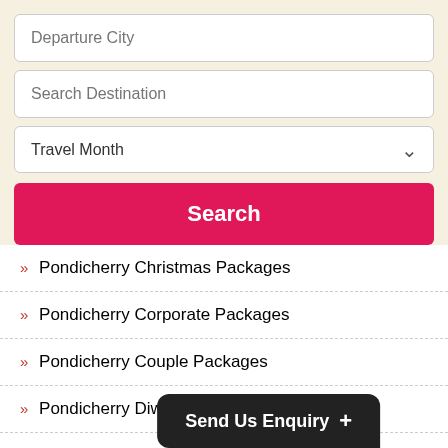[Figure (screenshot): Search form with Departure City input, Search Destination input, Travel Month dropdown, and a pink Search button]
» Pondicherry Christmas Packages
» Pondicherry Corporate Packages
» Pondicherry Couple Packages
» Pondicherry Diwali Packages
» Pondicherry Durga Puja Packages
» Pondicherry Family Packages
» Pondicherry Group Packages
» Pondicherry Holiday Packages
» Pondicherry Honeymoon...
» Pondicherry Luxury Pa...
Send Us Enquiry +